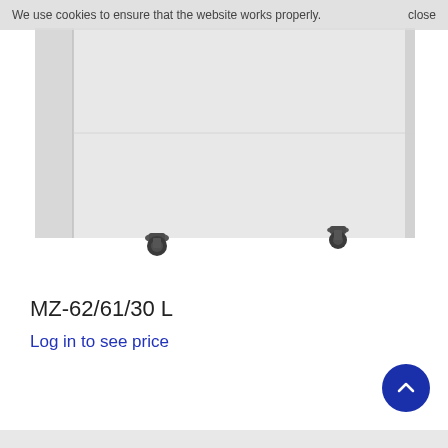We use cookies to ensure that the website works properly.    close
[Figure (photo): Product photo of a white/light-grey cabinet or storage unit (MZ-62/61/30 L) with two dark caster wheels visible at the bottom, photographed from a slight low angle on a white background.]
MZ-62/61/30 L
Log in to see price